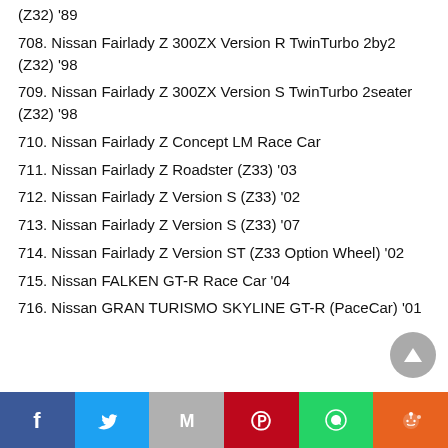(Z32) '89
708. Nissan Fairlady Z 300ZX Version R TwinTurbo 2by2 (Z32) '98
709. Nissan Fairlady Z 300ZX Version S TwinTurbo 2seater (Z32) '98
710. Nissan Fairlady Z Concept LM Race Car
711. Nissan Fairlady Z Roadster (Z33) '03
712. Nissan Fairlady Z Version S (Z33) '02
713. Nissan Fairlady Z Version S (Z33) '07
714. Nissan Fairlady Z Version ST (Z33 Option Wheel) '02
715. Nissan FALKEN GT-R Race Car '04
716. Nissan GRAN TURISMO SKYLINE GT-R (PaceCar) '01
Share buttons: Facebook, Twitter, Gmail, Pinterest, WhatsApp, Reddit